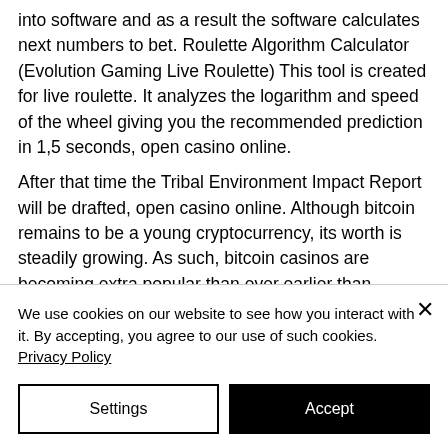into software and as a result the software calculates next numbers to bet. Roulette Algorithm Calculator (Evolution Gaming Live Roulette) This tool is created for live roulette. It analyzes the logarithm and speed of the wheel giving you the recommended prediction in 1,5 seconds, open casino online.
After that time the Tribal Environment Impact Report will be drafted, open casino online. Although bitcoin remains to be a young cryptocurrency, its worth is steadily growing. As such, bitcoin casinos are becoming extra popular than ever earlier than, though there
We use cookies on our website to see how you interact with it. By accepting, you agree to our use of such cookies. Privacy Policy
Settings
Accept